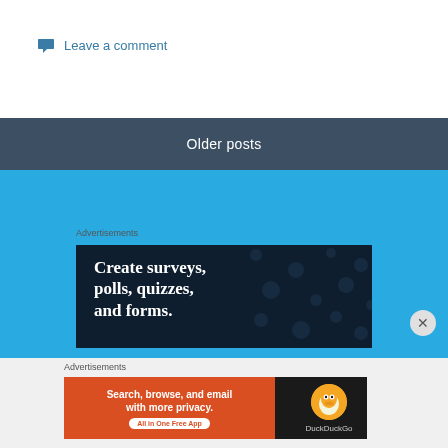Leave a comment
Older posts
Advertisements
[Figure (screenshot): Dark advertisement banner with text: Create surveys, polls, quizzes, and forms.]
Advertisements
[Figure (screenshot): DuckDuckGo advertisement: Search, browse, and email with more privacy. All in One Free App]